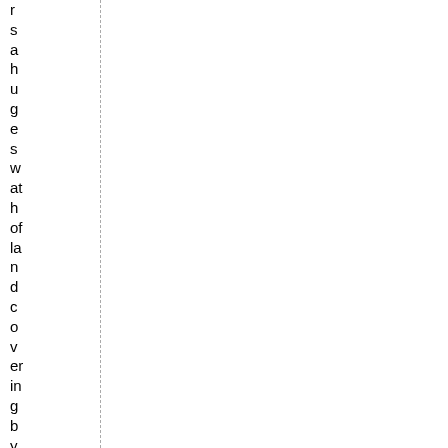r s a h u g e s w at h of la n d c o v er in g b y m o st a c c